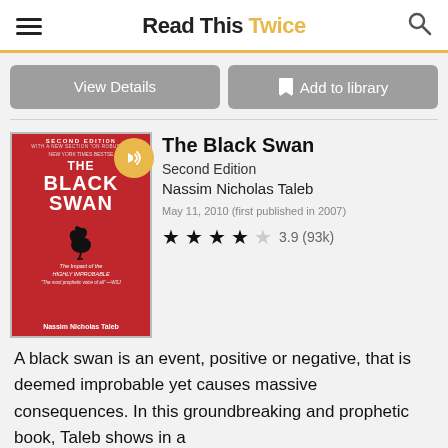Read This Twice
View Details
Add to library
[Figure (photo): Book cover of The Black Swan, Second Edition by Nassim Nicholas Taleb. Red cover with a black swan silhouette, with a yellow audio badge overlay.]
The Black Swan
Second Edition
Nassim Nicholas Taleb
May 11, 2010 (first published in 2007)
3.9 (93k)
A black swan is an event, positive or negative, that is deemed improbable yet causes massive consequences. In this groundbreaking and prophetic book, Taleb shows in a